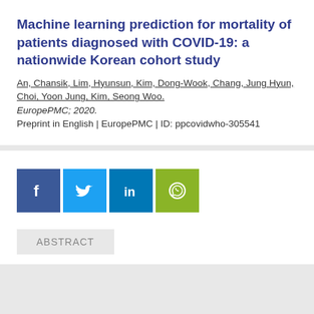Machine learning prediction for mortality of patients diagnosed with COVID-19: a nationwide Korean cohort study
An, Chansik, Lim, Hyunsun, Kim, Dong-Wook, Chang, Jung Hyun, Choi, Yoon Jung, Kim, Seong Woo.
EuropePMC; 2020.
Preprint in English | EuropePMC | ID: ppcovidwho-305541
[Figure (infographic): Social media sharing icons: Facebook (dark blue), Twitter (light blue), LinkedIn (medium blue), WhatsApp (green)]
ABSTRACT